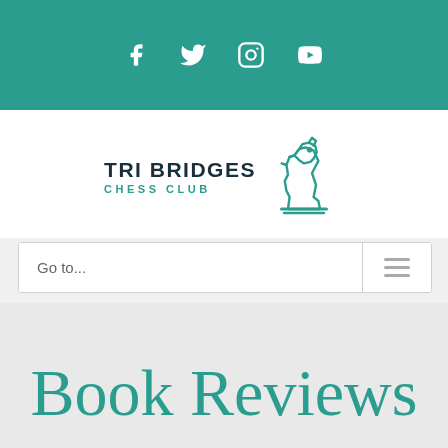Social media icons: Facebook, Twitter, Instagram, YouTube
[Figure (logo): Tri Bridges Chess Club logo with a teal chess knight icon and bold text reading TRI BRIDGES CHESS CLUB]
Go to...
Book Reviews